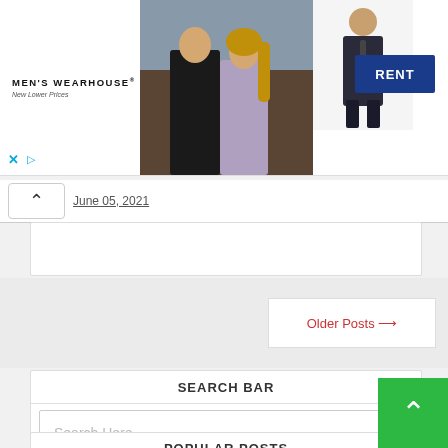[Figure (illustration): Men's Wearhouse advertisement banner showing couple in formalwear, child in suit, and RENT button]
June 05, 2021
Older Posts →
SEARCH BAR
Search Here...
POPULAR POSTS